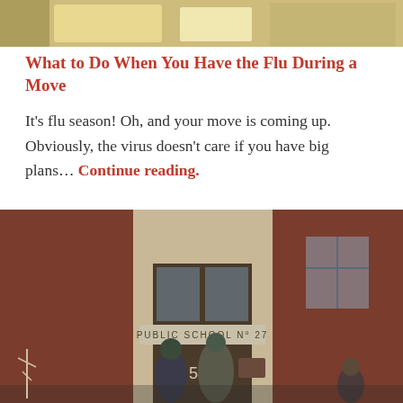[Figure (photo): Top partial photo showing what appears to be food or drink items, cropped at the top of the page]
What to Do When You Have the Flu During a Move
It's flu season! Oh, and your move is coming up. Obviously, the virus doesn't care if you have big plans... Continue reading.
[Figure (photo): Photo of the entrance to Public School No 27, a brick building with the number 546 on the door, with movers carrying furniture through the entrance]